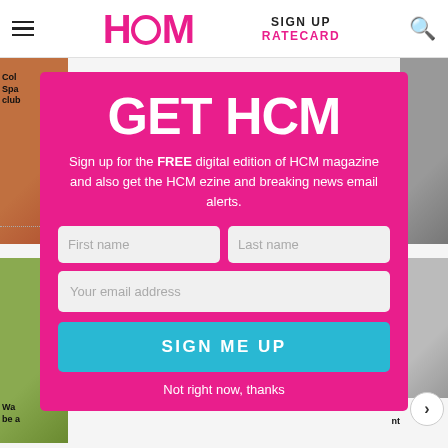HCM | SIGN UP | RATECARD
[Figure (screenshot): HCM magazine website background showing article thumbnails and text partially visible behind a modal signup overlay.]
GET HCM
Sign up for the FREE digital edition of HCM magazine and also get the HCM ezine and breaking news email alerts.
First name
Last name
Your email address
SIGN ME UP
Not right now, thanks